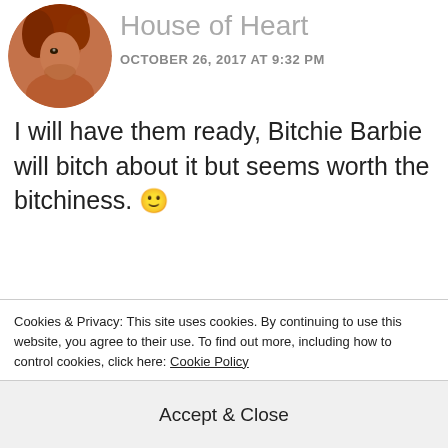[Figure (photo): Circular avatar photo of a person with red/auburn hair — House of Heart commenter profile picture]
House of Heart
OCTOBER 26, 2017 AT 9:32 PM
I will have them ready, Bitchie Barbie will bitch about it but seems worth the bitchiness. 🙂
★ Like
REPLY
[Figure (photo): Circular avatar of next commenter, partially visible]
Rose
Cookies & Privacy: This site uses cookies. By continuing to use this website, you agree to their use. To find out more, including how to control cookies, click here: Cookie Policy
Accept & Close
the gowns, really!